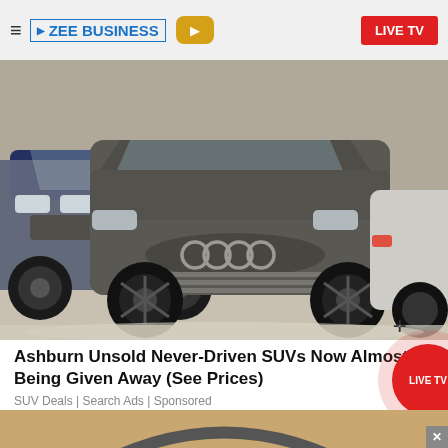ZEE BUSINESS | LIVE TV
[Figure (photo): Multiple dusty unsold SUVs and luxury cars parked in a covered lot, including an Audi Q7 in the foreground, with snow or dust covering the vehicles]
Ashburn Unsold Never-Driven SUVs Now Almost Being Given Away (See Prices)
SUV Deals | Search Ads | Sponsored
[Figure (photo): Partial view of a headphone or audio equipment on a wooden surface, bottom portion of the page]